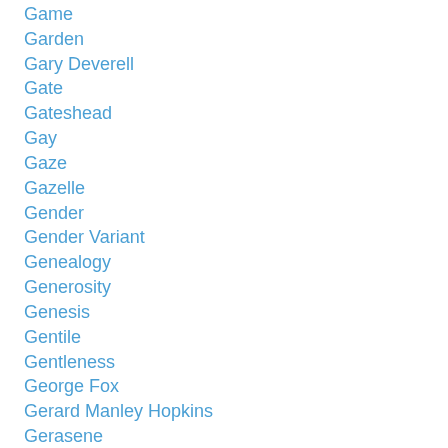Game
Garden
Gary Deverell
Gate
Gateshead
Gay
Gaze
Gazelle
Gender
Gender Variant
Genealogy
Generosity
Genesis
Gentile
Gentleness
George Fox
Gerard Manley Hopkins
Gerasene
Ghost
Gift
Gil Bailie